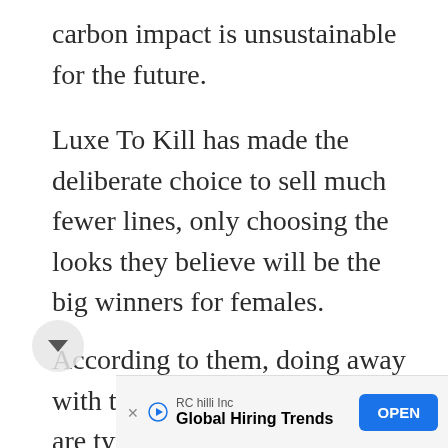carbon impact is unsustainable for the future.
Luxe To Kill has made the deliberate choice to sell much fewer lines, only choosing the looks they believe will be the big winners for females.
According to them, doing away with the hundreds of things that are typically left over